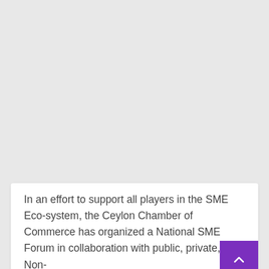[Figure (other): Gray background area taking up the top portion of the page]
In an effort to support all players in the SME Eco-system, the Ceylon Chamber of Commerce has organized a National SME Forum in collaboration with public, private, and Non-